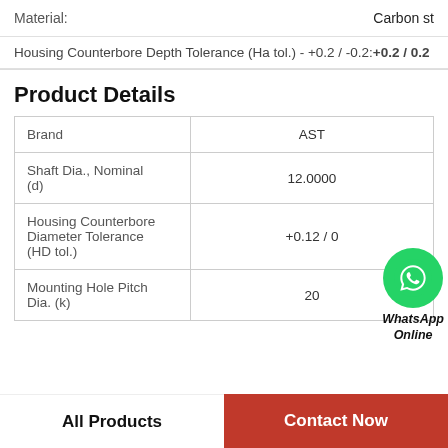Material: Carbon st
Housing Counterbore Depth Tolerance (Ha tol.) - +0.2 / -0.2:+0.2 / 0.2
Product Details
|  |  |
| --- | --- |
| Brand | AST |
| Shaft Dia., Nominal (d) | 12.0000 |
| Housing Counterbore Diameter Tolerance (HD tol.) | +0.12 / 0 |
| Mounting Hole Pitch Dia. (k) | 20 |
[Figure (logo): WhatsApp Online green circle icon with phone symbol and text 'WhatsApp Online']
All Products
Contact Now